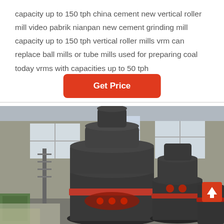capacity up to 150 tph china cement new vertical roller mill video pabrik nianpan new cement grinding mill capacity up to 150 tph vertical roller mills vrm can replace ball mills or tube mills used for preparing coal today vrms with capacities up to 50 tph
Get Price
[Figure (photo): Interior of an industrial factory/warehouse showing large vertical roller mill machines (dark grey with red accents) on the factory floor. Multiple mill units of varying sizes are visible. The background shows windows, concrete walls, and various factory equipment and materials.]